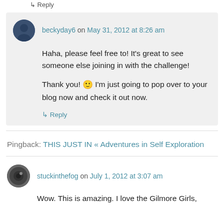↳ Reply
beckyday6 on May 31, 2012 at 8:26 am
Haha, please feel free to! It's great to see someone else joining in with the challenge!
Thank you! 🙂 I'm just going to pop over to your blog now and check it out now.
↳ Reply
Pingback: THIS JUST IN « Adventures in Self Exploration
stuckinthefog on July 1, 2012 at 3:07 am
Wow. This is amazing. I love the Gilmore Girls,